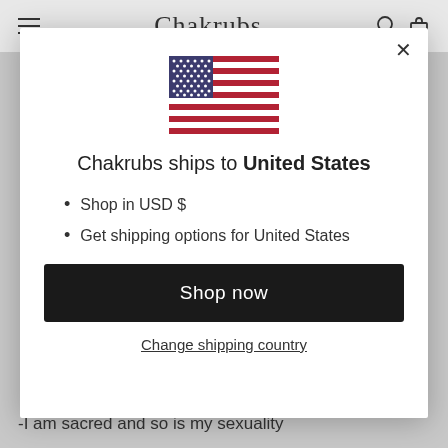Chakrubs
[Figure (screenshot): US flag emoji/icon displayed in modal dialog]
Chakrubs ships to United States
Shop in USD $
Get shipping options for United States
Shop now
Change shipping country
-I am sacred and so is my sexuality